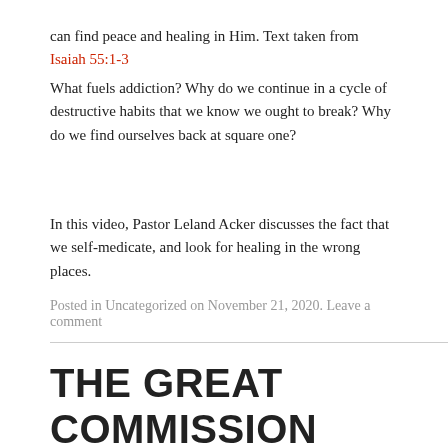can find peace and healing in Him. Text taken from Isaiah 55:1-3
What fuels addiction? Why do we continue in a cycle of destructive habits that we know we ought to break? Why do we find ourselves back at square one?
In this video, Pastor Leland Acker discusses the fact that we self-medicate, and look for healing in the wrong places.
Posted in Uncategorized on November 21, 2020. Leave a comment
THE GREAT COMMISSION SERIES
The purpose and mission of the church is to spread the Gospel